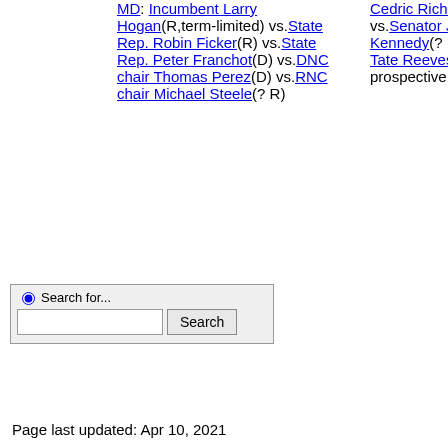MD: Incumbent Larry Hogan(R,term-limited) vs.State Rep. Robin Ficker(R) vs.State Rep. Peter Franchot(D) vs.DNC chair Thomas Perez(D) vs.RNC chair Michael Steele(? R)
Cedric Richmond(? D) vs.Senator John Neely Kennedy(? R) MS: Incumbent Tate Reeves(R) (no prospective opponents yet)
[Figure (other): Search widget with radio button labeled 'Search for...', a text input field, and a Search button]
Page last updated: Apr 10, 2021